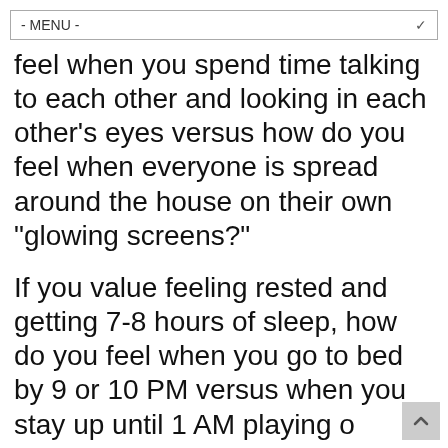- MENU -
feel when you spend time talking to each other and looking in each other’s eyes versus how do you feel when everyone is spread around the house on their own “glowing screens?”
If you value feeling rested and getting 7-8 hours of sleep, how do you feel when you go to bed by 9 or 10 PM versus when you stay up until 1 AM playing o